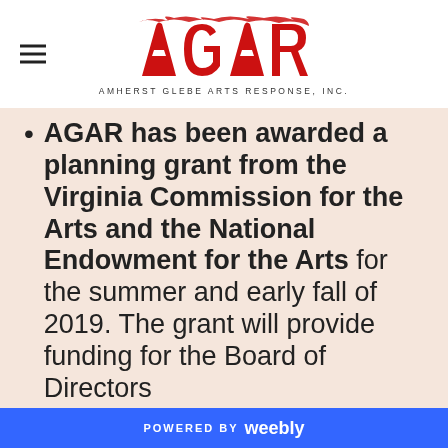[Figure (logo): AGAR logo — red stylized text with flame-like brushstrokes — and tagline AMHERST GLEBE ARTS RESPONSE, INC.]
AGAR has been awarded a planning grant from the Virginia Commission for the Arts and the National Endowment for the Arts for the summer and early fall of 2019. The grant will provide funding for the Board of Directors
POWERED BY weebly